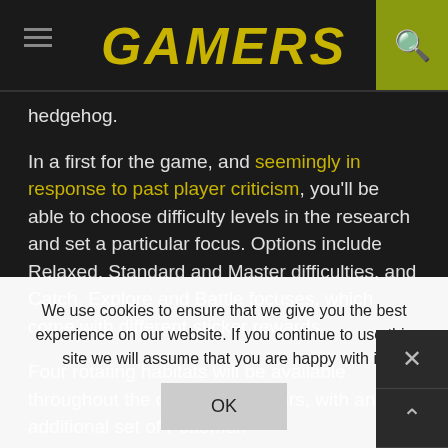GAMERS
hedgehog.
In a first for the game, and seemingly in response to past player criticism, you'll be able to choose difficulty levels in the research and set a particular focus. Options include Relaxed, Standard and Master difficulties, and Catch, Explore and Battle focuses, which come with different sticker rewards.
Four rotating habitats will be available throughout the day for all players, with an additional set of Pokémon shiny chance. Global challenges will reward players as the game's community hits various goals in real-time, meanwhile.
We use cookies to ensure that we give you the best experience on our website. If you continue to use this site we will assume that you are happy with it.
OK